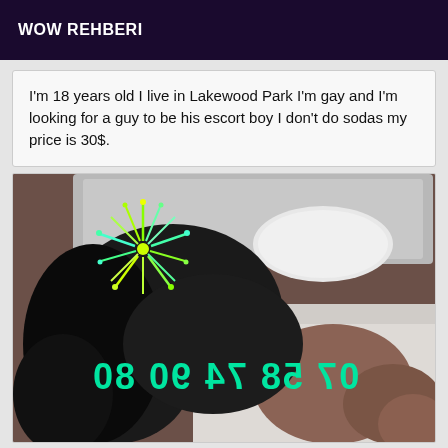WOW REHBERI
I'm 18 years old I live in Lakewood Park I'm gay and I'm looking for a guy to be his escort boy I don't do sodas my price is 30$.
[Figure (photo): Photo of a person lying on a bed with face obscured by a fireworks graphic overlay. Text on image reads '07 58 74 90 80' (mirrored/reversed) in teal green handwritten-style font.]